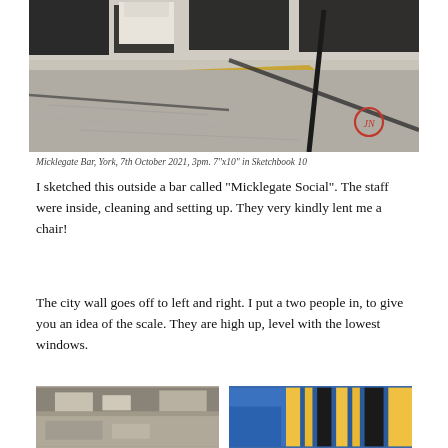[Figure (photo): Sketch/painting of Micklegate Bar in York, showing a city wall scene with dark architectural forms, yellow/ochre paint strokes, and a red circle artist monogram in the lower right.]
Micklegate Bar, York, 7th October 2021, 3pm. 7"x10" in Sketchbook 10
I sketched this outside a bar called “Micklegate Social”. The staff were inside, cleaning and setting up. They very kindly lent me a chair!
The city wall goes off to left and right. I put a two people in, to give you an idea of the scale. They are high up, level with the lowest windows.
[Figure (photo): Bottom-left partial image showing a sketch scene with muted tones.]
[Figure (photo): Bottom-right partial image showing a blue and striped architectural scene.]